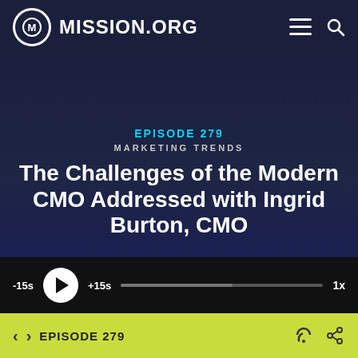MISSION.ORG
EPISODE 279
MARKETING TRENDS
The Challenges of the Modern CMO Addressed with Ingrid Burton, CMO
-15s  +15s  1x
EPISODE 279